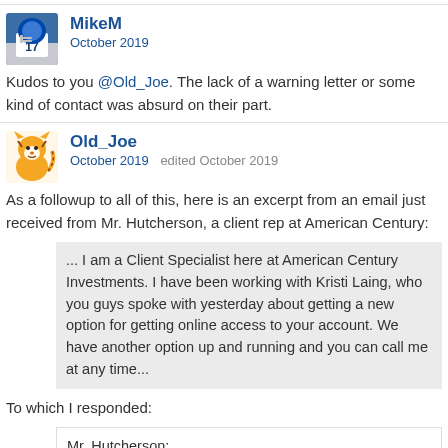MikeM
October 2019
Kudos to you @Old_Joe. The lack of a warning letter or some kind of contact was absurd on their part.
Old_Joe
October 2019   edited October 2019
As a followup to all of this, here is an excerpt from an email just received from Mr. Hutcherson, a client rep at American Century:
... I am a Client Specialist here at American Century Investments. I have been working with Kristi Laing, who you guys spoke with yesterday about getting a new option for getting online access to your account. We have another option up and running and you can call me at any time...
To which I responded:
Mr. Hutcherson:

Thank you for your email and earlier phone call. The new security option is perfectly workable from our perspective, and I've already set up the security question option.